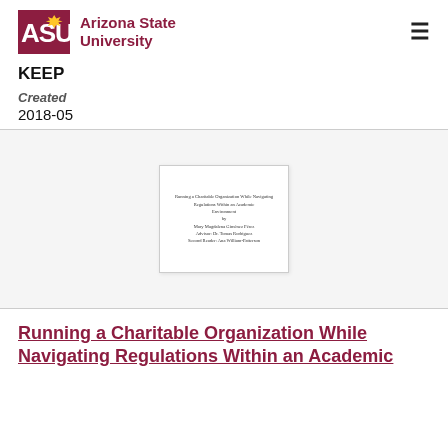Arizona State University
KEEP
Created
2018-05
[Figure (other): Thumbnail preview of a document titled 'Running a Charitable Organization While Navigating Regulations Within an Academic Environment' with author and advisor lines.]
Running a Charitable Organization While Navigating Regulations Within an Academic